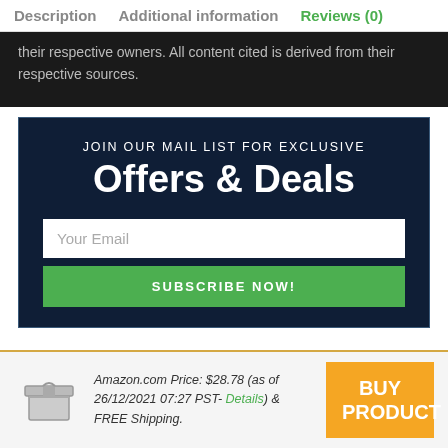Description   Additional information   Reviews (0)
their respective owners. All content cited is derived from their respective sources.
JOIN OUR MAIL LIST FOR EXCLUSIVE
Offers & Deals
Your Email
SUBSCRIBE NOW!
Amazon.com Price: $28.78 (as of 26/12/2021 07:27 PST- Details) & FREE Shipping.   BUY PRODUCT